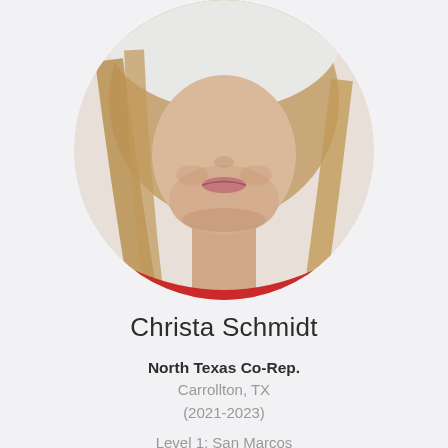[Figure (photo): Circular cropped headshot portrait of a young woman with blonde straight hair and a slight smile, wearing a red top, on a light grey/white background. The photo is cropped to show from approximately the nose down to the upper chest.]
Christa Schmidt
North Texas Co-Rep.
Carrollton, TX
(2021-2023)
Level 1: San Marcos
Level 2: SMU